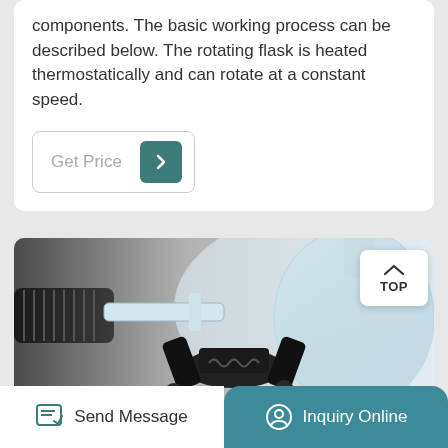components. The basic working process can be described below. The rotating flask is heated thermostatically and can rotate at a constant speed.
[Figure (other): Get Price button with teal arrow icon]
[Figure (photo): Close-up photograph of laboratory rotary evaporator mechanical components including a clamp, glass flask, and motor assembly]
[Figure (other): TOP navigation button with upward chevron icon]
Send Message
Inquiry Online